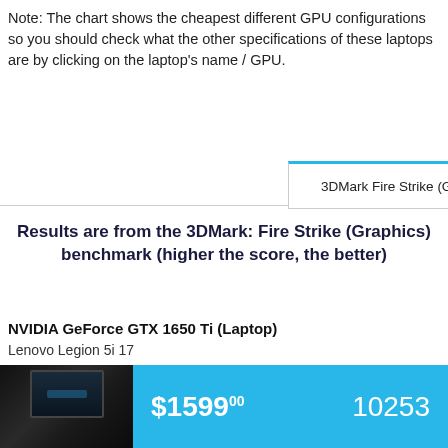Note: The chart shows the cheapest different GPU configurations so you should check what the other specifications of these laptops are by clicking on the laptop’s name / GPU.
3DMark Fire Strike (G)
Results are from the 3DMark: Fire Strike (Graphics) benchmark (higher the score, the better)
NVIDIA GeForce GTX 1650 Ti (Laptop)
Lenovo Legion 5i 17
[Figure (other): Product card showing laptop image and price $1599.00 with benchmark score 10253 on cyan background]